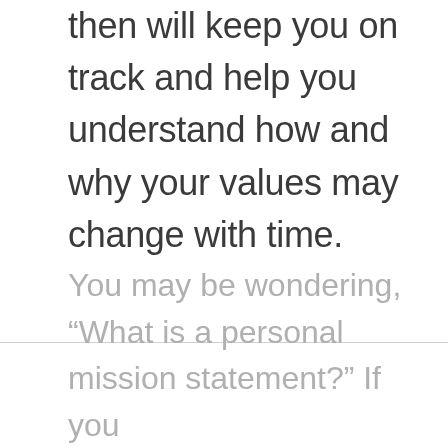then will keep you on track and help you understand how and why your values may change with time.
You may be wondering, “What is a personal mission statement?” If you